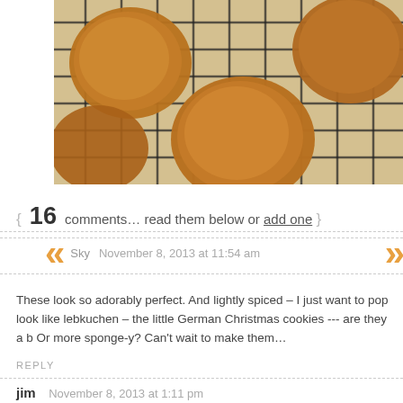[Figure (photo): Overhead view of round cookies/biscuits on a wire cooling rack, warm golden-brown color]
{ 16 comments… read them below or add one }
Sky  November 8, 2013 at 11:54 am
These look so adorably perfect. And lightly spiced – I just want to pop look like lebkuchen – the little German Christmas cookies --- are they a b Or more sponge-y? Can't wait to make them…
REPLY
jim  November 8, 2013 at 1:11 pm